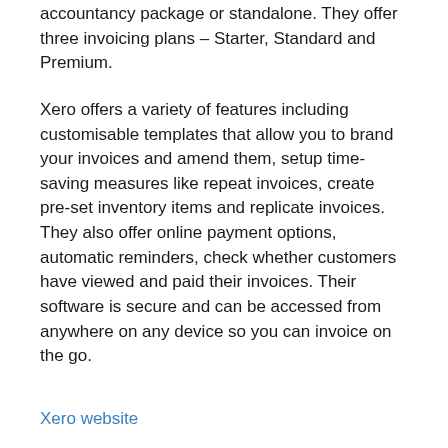accountancy package or standalone. They offer three invoicing plans – Starter, Standard and Premium.
Xero offers a variety of features including customisable templates that allow you to brand your invoices and amend them, setup time-saving measures like repeat invoices, create pre-set inventory items and replicate invoices. They also offer online payment options, automatic reminders, check whether customers have viewed and paid their invoices. Their software is secure and can be accessed from anywhere on any device so you can invoice on the go.
Xero website
3. Squoro